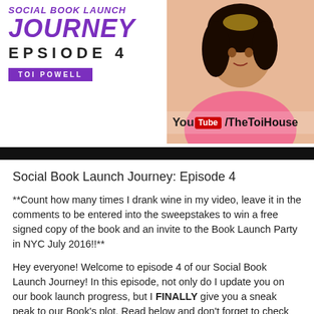[Figure (photo): YouTube video thumbnail for Social Book Launch Journey Episode 4 by Toi Powell, showing purple italic title text, episode number, purple name badge, and a woman in a pink top on the right side with YouTube channel branding /TheToiHouse]
Social Book Launch Journey: Episode 4
**Count how many times I drank wine in my video, leave it in the comments to be entered into the sweepstakes to win a free signed copy of the book and an invite to the Book Launch Party in NYC July 2016!!**
Hey everyone! Welcome to episode 4 of our Social Book Launch Journey! In this episode, not only do I update you on our book launch progress, but I FINALLY give you a sneak peak to our Book's plot. Read below and don't forget to check out the links I mentioned in my video and make sure you SIGN UP FOR OUR MAILING LIST for freebies, new videos and a